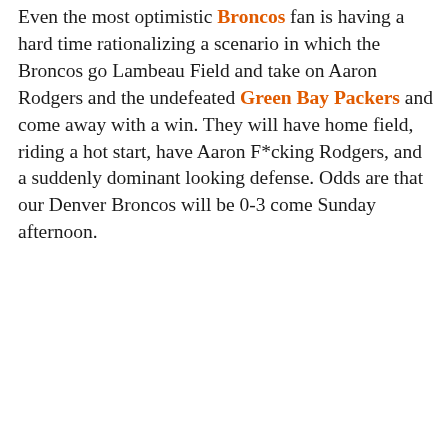Even the most optimistic Broncos fan is having a hard time rationalizing a scenario in which the Broncos go Lambeau Field and take on Aaron Rodgers and the undefeated Green Bay Packers and come away with a win. They will have home field, riding a hot start, have Aaron F*cking Rodgers, and a suddenly dominant looking defense. Odds are that our Denver Broncos will be 0-3 come Sunday afternoon.